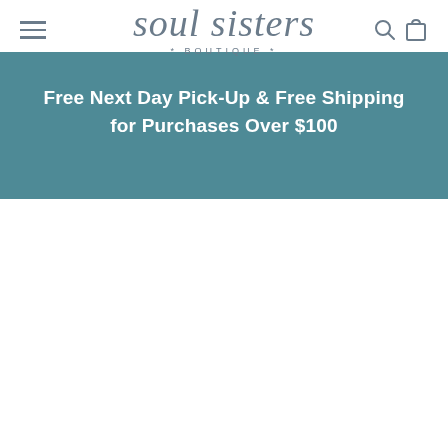[Figure (logo): Soul Sisters Boutique logo with hamburger menu icon and search/cart icons in the header]
Free Next Day Pick-Up & Free Shipping for Purchases Over $100